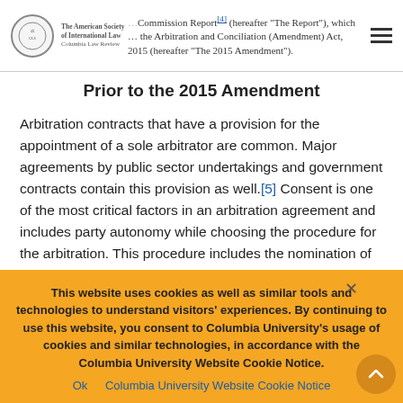Law Commission Report[4] (hereafter "The Report"), which ... the Arbitration and Conciliation (Amendment) Act, 2015 (hereafter "The 2015 Amendment").
Prior to the 2015 Amendment
Arbitration contracts that have a provision for the appointment of a sole arbitrator are common. Major agreements by public sector undertakings and government contracts contain this provision as well.[5] Consent is one of the most critical factors in an arbitration agreement and includes party autonomy while choosing the procedure for the arbitration. This procedure includes the nomination of an arbitrator. With respect to procedure, the Report had asked for
This website uses cookies as well as similar tools and technologies to understand visitors' experiences. By continuing to use this website, you consent to Columbia University's usage of cookies and similar technologies, in accordance with the Columbia University Website Cookie Notice.
Ok   Columbia University Website Cookie Notice